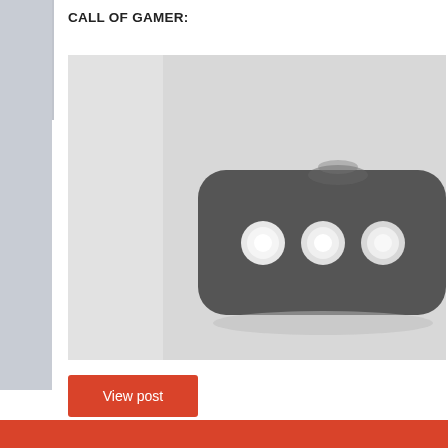CALL OF GAMER:
[Figure (photo): A photo showing what appears to be a gaming device or controller component — a dark rounded rectangular piece with three circular white buttons/lights, set against a light gray background.]
View post